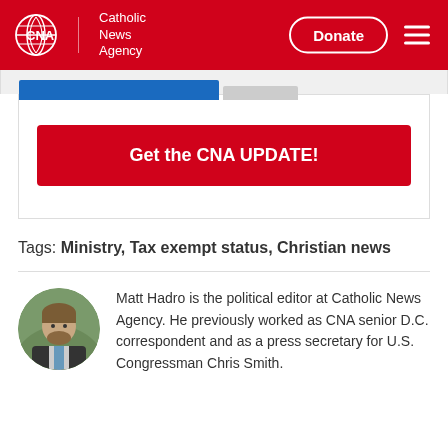[Figure (logo): CNA Catholic News Agency header logo on red background with Donate button and hamburger menu]
[Figure (screenshot): Partial blue and gray tab navigation bar]
[Figure (screenshot): Red CTA button: Get the CNA UPDATE!]
Tags: Ministry, Tax exempt status, Christian news
[Figure (photo): Circular headshot photo of Matt Hadro]
Matt Hadro is the political editor at Catholic News Agency. He previously worked as CNA senior D.C. correspondent and as a press secretary for U.S. Congressman Chris Smith.